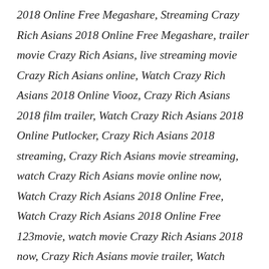2018 Online Free Megashare, Streaming Crazy Rich Asians 2018 Online Free Megashare, trailer movie Crazy Rich Asians, live streaming movie Crazy Rich Asians online, Watch Crazy Rich Asians 2018 Online Viooz, Crazy Rich Asians 2018 film trailer, Watch Crazy Rich Asians 2018 Online Putlocker, Crazy Rich Asians 2018 streaming, Crazy Rich Asians movie streaming, watch Crazy Rich Asians movie online now, Watch Crazy Rich Asians 2018 Online Free, Watch Crazy Rich Asians 2018 Online Free 123movie, watch movie Crazy Rich Asians 2018 now, Crazy Rich Asians movie trailer, Watch Crazy Rich Asians 2018 Online Free Putlocker, film Crazy Rich Asians 2018.